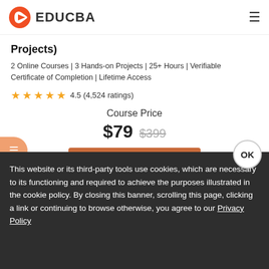[Figure (logo): EDUCBA logo with orange play button icon and bold text EDUCBA]
Projects)
2 Online Courses | 3 Hands-on Projects | 25+ Hours | Verifiable Certificate of Completion | Lifetime Access
4.5 (4,524 ratings)
Course Price
$79 $399
View Course
This website or its third-party tools use cookies, which are necessary to its functioning and required to achieve the purposes illustrated in the cookie policy. By closing this banner, scrolling this page, clicking a link or continuing to browse otherwise, you agree to our Privacy Policy